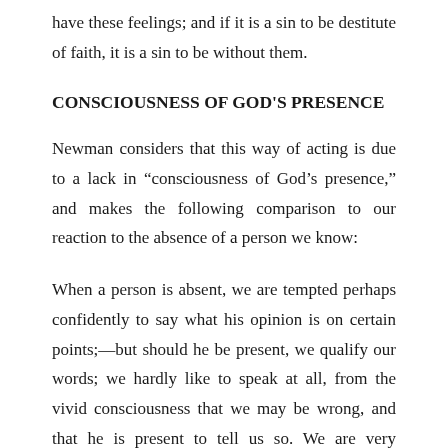have these feelings; and if it is a sin to be destitute of faith, it is a sin to be without them.
CONSCIOUSNESS OF GOD'S PRESENCE
Newman considers that this way of acting is due to a lack in “consciousness of God’s presence,” and makes the following comparison to our reaction to the absence of a person we know:
When a person is absent, we are tempted perhaps confidently to say what his opinion is on certain points;—but should he be present, we qualify our words; we hardly like to speak at all, from the vivid consciousness that we may be wrong, and that he is present to tell us so. We are very cautious of pronouncing what his feelings are on the matter in hand, or how he is